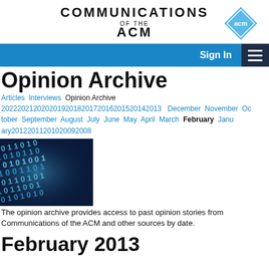COMMUNICATIONS OF THE ACM
Opinion Archive
Articles Interviews Opinion Archive 2022202120202019201820172016201520142013 December November October September August July June May April March February January20122011201020092008
[Figure (photo): Binary code image showing glowing blue 0s and 1s on a dark background]
The opinion archive provides access to past opinion stories from Communications of the ACM and other sources by date.
February 2013